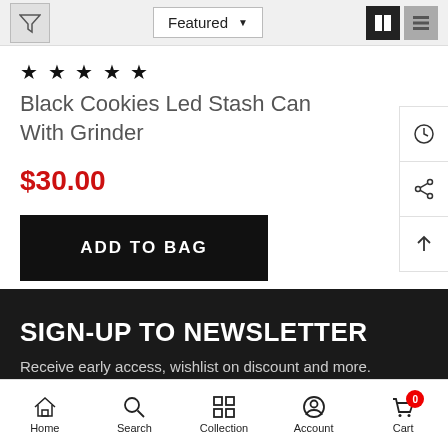[Figure (screenshot): Top toolbar with filter icon, Featured dropdown, grid and list view icons]
★ ★ ★ ★ ★
Black Cookies Led Stash Can With Grinder
$30.00
ADD TO BAG
SIGN-UP TO NEWSLETTER
Receive early access, wishlist on discount and more.
Home  Search  Collection  Account  Cart